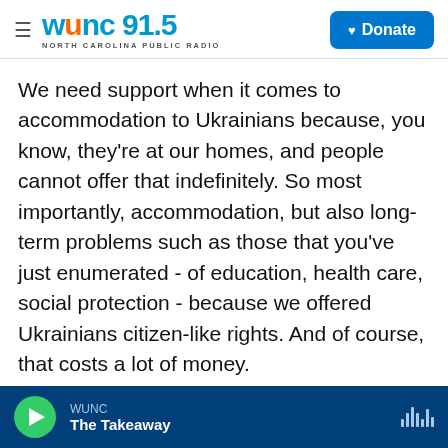WUNC 91.5 NORTH CAROLINA PUBLIC RADIO | Donate
We need support when it comes to accommodation to Ukrainians because, you know, they're at our homes, and people cannot offer that indefinitely. So most importantly, accommodation, but also long-term problems such as those that you've just enumerated - of education, health care, social protection - because we offered Ukrainians citizen-like rights. And of course, that costs a lot of money.
Just to give you an example, I have 280,000 kids in my schools, and I have 120,000 additional Ukrainian kids in Warsaw. We've enrolled 20,000 of
WUNC | The Takeaway